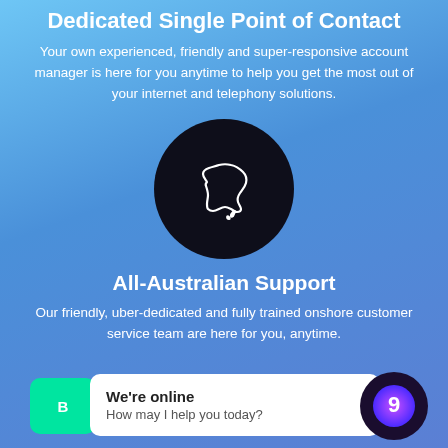Dedicated Single Point of Contact
Your own experienced, friendly and super-responsive account manager is here for you anytime to help you get the most out of your internet and telephony solutions.
[Figure (illustration): Dark circular icon with a white outline illustration of the map of Australia]
All-Australian Support
Our friendly, uber-dedicated and fully trained onshore customer service team are here for you, anytime.
[Figure (screenshot): Live chat widget at the bottom of the page showing a green button, a white speech bubble saying 'We’re online / How may I help you today?' and a circular logo with a purple 9 icon]